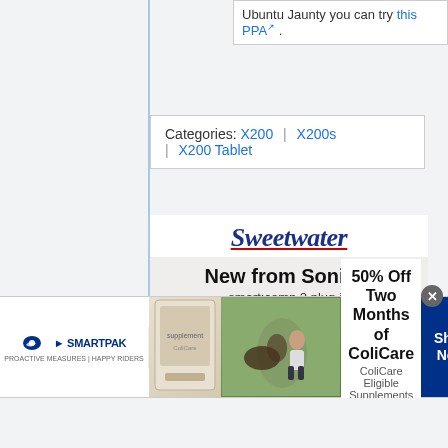Ubuntu Jaunty you can try this PPA…
Categories: X200 | X200s | X200 Tablet
[Figure (advertisement): Sweetwater advertisement for New from Sonible smart:comp 2 plug-in with Shop now button and plugin screenshot]
[Figure (logo): infolinks badge/logo in dark blue]
[Figure (advertisement): SmartPak banner advertisement: 50% Off Two Months of ColiCare, ColiCare Eligible Supplements, CODE: COLICARE10, Shop Now button]